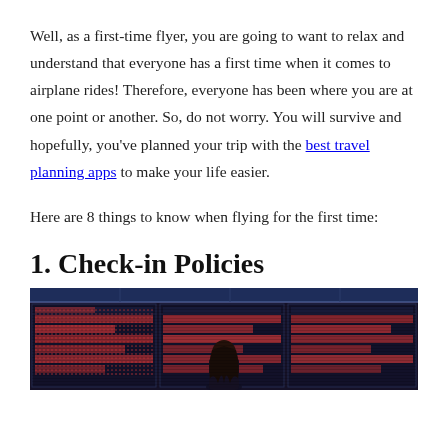Well, as a first-time flyer, you are going to want to relax and understand that everyone has a first time when it comes to airplane rides!  Therefore, everyone has been where you are at one point or another.  So, do not worry. You will survive and hopefully, you've planned your trip with the best travel planning apps to make your life easier.
Here are 8 things to know when flying for the first time:
1. Check-in Policies
[Figure (photo): A person with long dark hair seen from behind, looking up at large airport departure board displays showing red dot-matrix flight information against a dark blue background.]